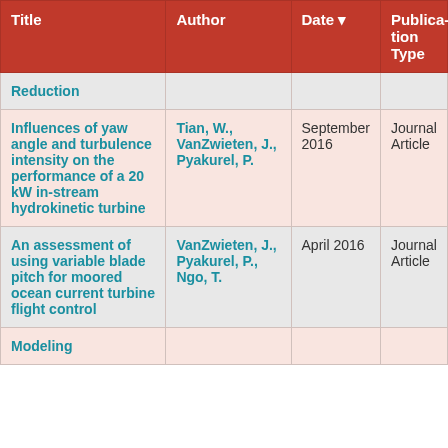| Title | Author | Date | Publication Type |
| --- | --- | --- | --- |
| Reduction |  |  |  |
| Influences of yaw angle and turbulence intensity on the performance of a 20 kW in-stream hydrokinetic turbine | Tian, W., VanZwieten, J., Pyakurel, P. | September 2016 | Journal Article |
| An assessment of using variable blade pitch for moored ocean current turbine flight control | VanZwieten, J., Pyakurel, P., Ngo, T. | April 2016 | Journal Article |
| Modeling |  |  |  |